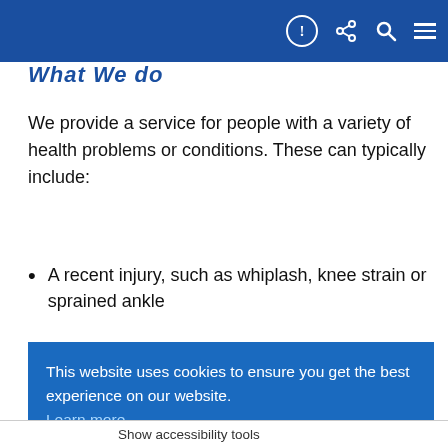Navigation bar with icons
What We do
We provide a service for people with a variety of health problems or conditions. These can typically include:
A recent injury, such as whiplash, knee strain or sprained ankle
Surgery, such as knee replacement, ligament repair...
Soft tissue problems, such as after a fall
Accessing the services
Currently we accept referrals from GPs and Consultants... fers from
This website uses cookies to ensure you get the best experience on our website. Learn more
Got it!
Show accessibility tools